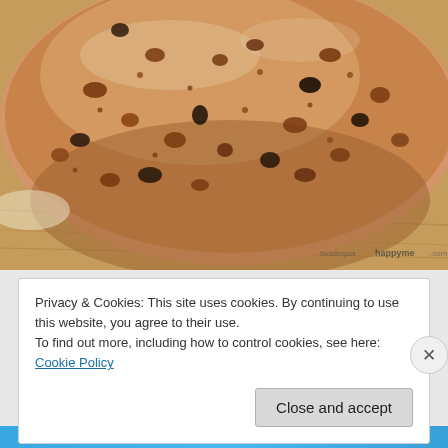[Figure (photo): Close-up photo of a round fruit/nut bread loaf on a wooden cutting board, with raisins or dried fruits and seeds visible on the golden-brown crust. Watermark reads 'foodiequaihappyme.com' in the bottom right corner.]
Privacy & Cookies: This site uses cookies. By continuing to use this website, you agree to their use.
To find out more, including how to control cookies, see here: Cookie Policy
Close and accept